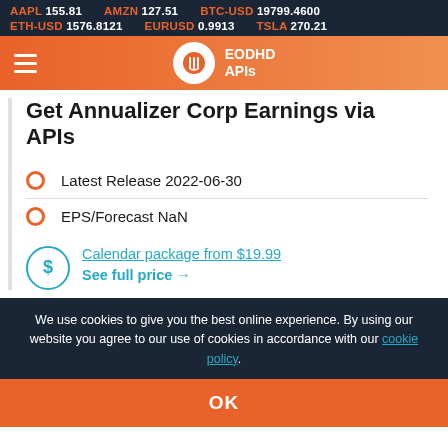AAPL 155.81   AMZN 127.51   BTC-USD 19799.4600   ETH-USD 1576.8121   EURUSD 0.9913   TSLA 270.21
[Figure (logo): EODHD APIs logo with hamburger menu on orange gradient navigation bar]
Get Annualizer Corp Earnings via APIs
Latest Release 2022-06-30
EPS/Forecast NaN
Calendar package from $19.99
See full price →
We use cookies to give you the best online experience. By using our website you agree to our use of cookies in accordance with our cookie policy.
OK